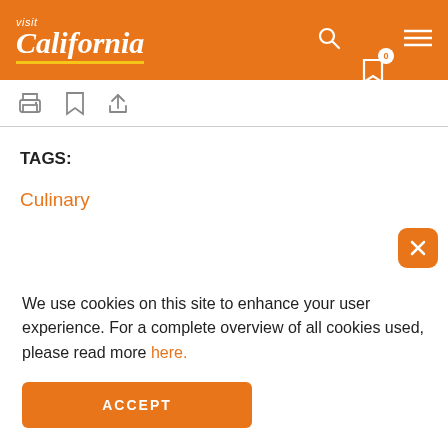visit California
TAGS:
Culinary
We use cookies on this site to enhance your user experience. For a complete overview of all cookies used, please read more here.
ACCEPT